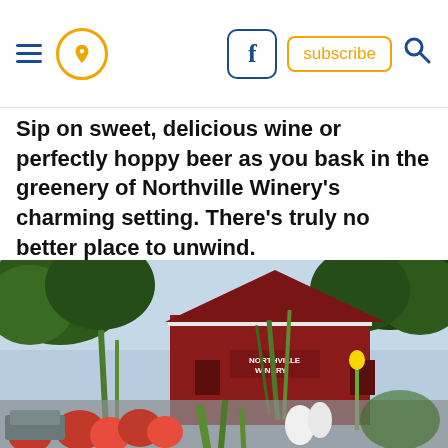Navigation header with hamburger menu, location pin icon, Facebook button, subscribe button, and search icon
Sip on sweet, delicious wine or perfectly hoppy beer as you bask in the greenery of Northville Winery's charming setting. There's truly no better place to unwind.
[Figure (photo): Exterior photo of Northville Winery, showing a red barn-style building with 'NORTHVILLE WINERY' sign, surrounded by green trees and tall grass plants, with a second lower photo showing red flowers and green foliage below.]